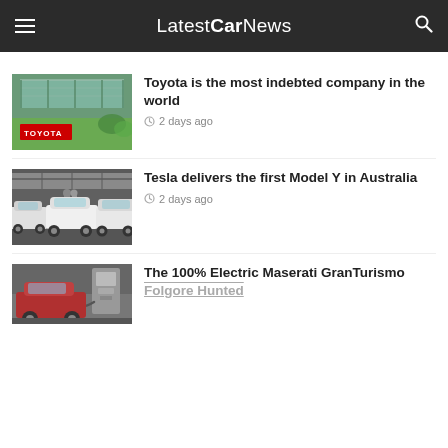LatestCarNews
[Figure (photo): Toyota building exterior with red Toyota sign and glass roof structure]
Toyota is the most indebted company in the world
2 days ago
[Figure (photo): Tesla Model Y white cars at a delivery event in Australia]
Tesla delivers the first Model Y in Australia
2 days ago
[Figure (photo): Electric vehicle charging station with Maserati GranTurismo]
The 100% Electric Maserati GranTurismo Folgore Hunted